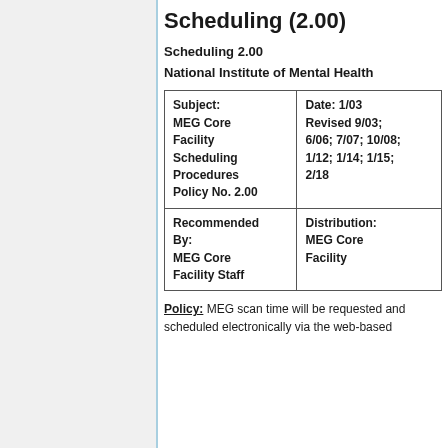Scheduling (2.00)
Scheduling 2.00
National Institute of Mental Health
| Subject | Date |
| --- | --- |
| Subject:
MEG Core Facility Scheduling Procedures
Policy No. 2.00 | Date: 1/03
Revised 9/03; 6/06; 7/07; 10/08; 1/12; 1/14; 1/15; 2/18 |
| Recommended By:
MEG Core Facility Staff | Distribution:
MEG Core Facility |
Policy: MEG scan time will be requested and scheduled electronically via the web-based